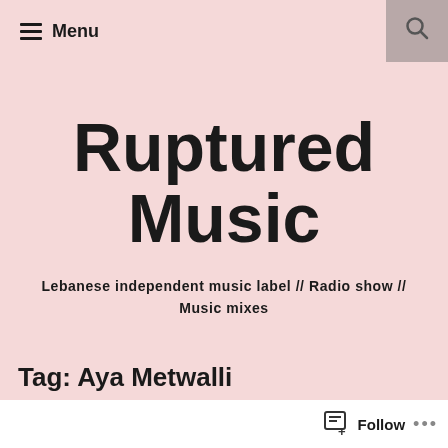Menu
Ruptured Music
Lebanese independent music label // Radio show // Music mixes
Tag: Aya Metwalli